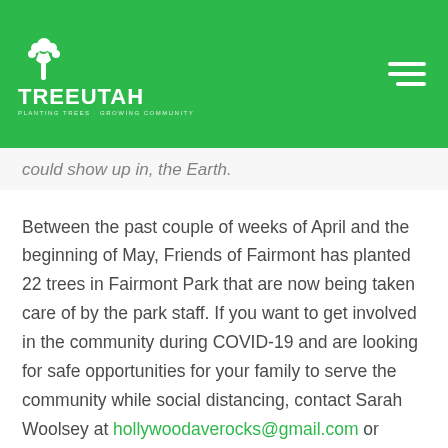TREEUTAH — PLANTING TREES · GROWING COMMUNITY
...could show up in, the Earth.
Between the past couple of weeks of April and the beginning of May, Friends of Fairmont has planted 22 trees in Fairmont Park that are now being taken care of by the park staff. If you want to get involved in the community during COVID-19 and are looking for safe opportunities for your family to serve the community while social distancing, contact Sarah Woolsey at hollywoodaverocks@gmail.com or follow Friends of Fairmont Salt Lake...